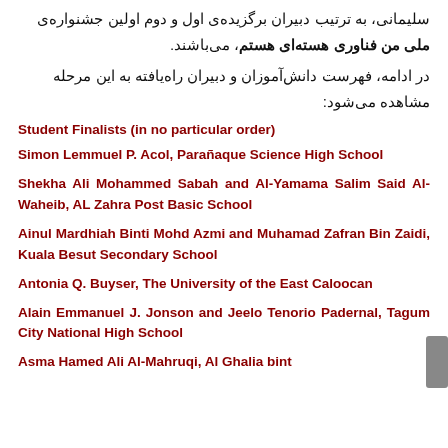سلیمانی، به ترتیب دبیران برگزیده‌ی اول و دوم اولین جشنواره‌ی ملی من فناوری هسته‌ای هستم، می‌باشند.
در ادامه، فهرست دانش‌آموزان و دبیران راه‌یافته به این مرحله مشاهده می‌شود:
Student Finalists (in no particular order)
Simon Lemmuel P. Acol, Parañaque Science High School
Shekha Ali Mohammed Sabah and Al-Yamama Salim Said Al-Waheib, AL Zahra Post Basic School
Ainul Mardhiah Binti Mohd Azmi and Muhamad Zafran Bin Zaidi, Kuala Besut Secondary School
Antonia Q. Buyser, The University of the East Caloocan
Alain Emmanuel J. Jonson and Jeelo Tenorio Padernal, Tagum City National High School
Asma Hamed Ali Al-Mahruqi, Al Ghalia bint...